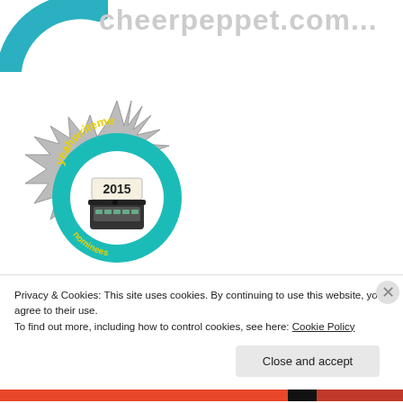[Figure (logo): Partial teal/blue arc logo in top-left corner with gray bold text 'cheerpeppet.com...' truncated, shown as website header]
[Figure (illustration): yeahwriteme 2015 badge — a circular teal ring with yellow text 'yeahwriteme' around it, a vintage typewriter in the center, surrounded by a silver starburst/gear border, year 2015 shown on a paper label]
Privacy & Cookies: This site uses cookies. By continuing to use this website, you agree to their use.
To find out more, including how to control cookies, see here: Cookie Policy
Close and accept